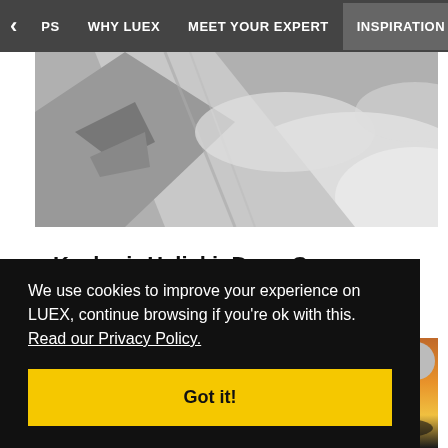PS  WHY LUEX  MEET YOUR EXPERT  INSPIRATION
[Figure (photo): Black and white mountain snow scene, heliski landscape in the Himalayas, top portion of image visible]
Kashmir Heliski: Deep Curry Powder in the Himalayas
Gulmarg is a small village in Kashmir, lying at 2690m in the Pir Panjal range of the Himalayas. In 2002 Bill Clinton described it as the most most...
We use cookies to improve your experience on LUEX, continue browsing if you're ok with this.  Read our Privacy Policy.

Got it!
[Figure (photo): Partial view of a sunset or nature photo in the bottom right corner]